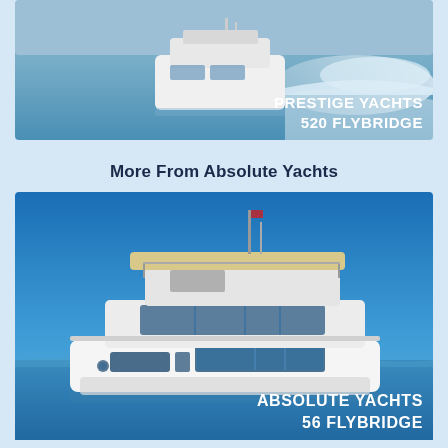[Figure (photo): Aerial/rear view of a white Prestige Yachts 520 Flybridge motor yacht speeding through blue-green water with white wake. Text overlay reads 'PRESTIGE YACHTS 520 FLYBRIDGE' in white bold font at bottom right.]
More From Absolute Yachts
[Figure (photo): Side profile of a white Absolute Yachts 56 Flybridge motor yacht against a deep blue sky and calm sea. The yacht has a flybridge deck, large windows. Text overlay reads 'ABSOLUTE YACHTS 56 FLYBRIDGE' in white bold font at bottom right.]